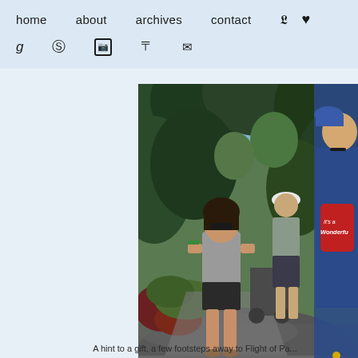home   about   archives   contact   [twitter] [heart]   g [pinterest] [instagram] [rss] [email]
[Figure (photo): Outdoor theme park scene with people walking on a path surrounded by trees. A young woman in a grey t-shirt and sunglasses stands in the center looking at her phone. Other park visitors are visible in the background, including a man in a white cap and grey polo shirt and a person in a blue t-shirt with a red drawstring bag that reads 'It's a Wonderful...']
A hint to a gift, a few footsteps away to Flight of Pa...